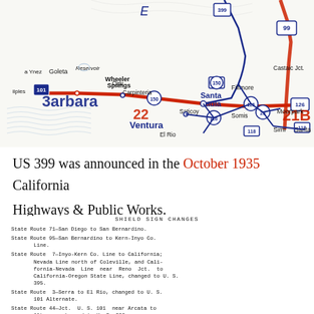[Figure (map): Vintage California highway map showing US routes including 399, 99, 101, 150, 126, 118, 23 near Santa Barbara, Ventura, Santa Paula, Moorpark, Simi, Goleta, Carpinteria, Ojai, Fillmore, Castaic Jct, Wheeler Springs, Saticoy, El Rio. Features red and blue route lines.]
US 399 was announced in the October 1935 California Highways & Public Works.
SHIELD SIGN CHANGES
State Route 71—San Diego to San Bernardino.
State Route 95—San Bernardino to Kern-Inyo Co. Line.
State Route 7—Inyo-Kern Co. Line to California; Nevada Line north of Coleville, and California-Nevada Line near Reno Jct. to California-Oregon State Line, changed to U. S. 395.
State Route 3—Serra to El Rio, changed to U. S. 101 Alternate.
State Route 44—Jct. U. S. 101 near Arcata to Alturas, changed to U. S. 299.
Other changes noted on the map are as follows: